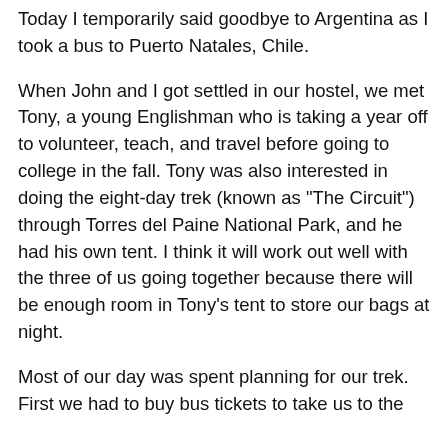Today I temporarily said goodbye to Argentina as I took a bus to Puerto Natales, Chile.
When John and I got settled in our hostel, we met Tony, a young Englishman who is taking a year off to volunteer, teach, and travel before going to college in the fall. Tony was also interested in doing the eight-day trek (known as "The Circuit") through Torres del Paine National Park, and he had his own tent. I think it will work out well with the three of us going together because there will be enough room in Tony's tent to store our bags at night.
Most of our day was spent planning for our trek. First we had to buy bus tickets to take us to the